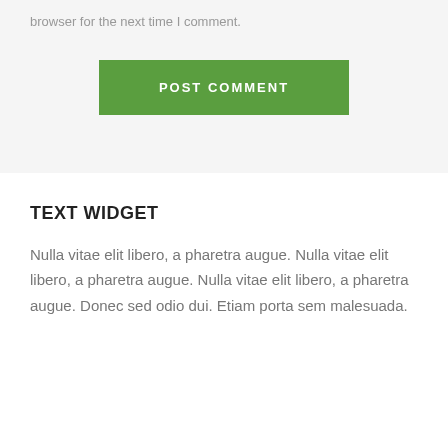browser for the next time I comment.
POST COMMENT
TEXT WIDGET
Nulla vitae elit libero, a pharetra augue. Nulla vitae elit libero, a pharetra augue. Nulla vitae elit libero, a pharetra augue. Donec sed odio dui. Etiam porta sem malesuada.